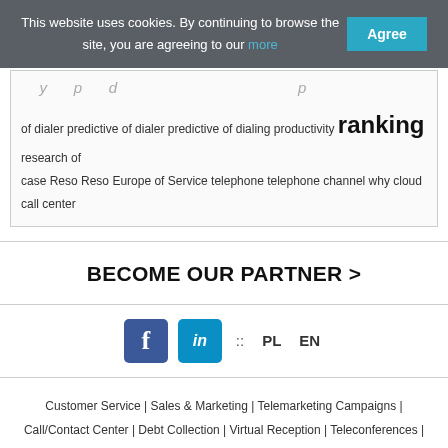This website uses cookies. By continuing to browse the site, you are agreeing to our more  [Agree]
of dialer predictive of dialer predictive of dialing productivity ranking research of case Reso Reso Europe of Service telephone telephone channel why cloud call center
BECOME OUR PARTNER >
[Figure (other): Facebook and LinkedIn social media icons, language selector with PL and EN options]
Customer Service | Sales & Marketing | Telemarketing Campaigns | Call/Contact Center | Debt Collection | Virtual Reception | Teleconferences